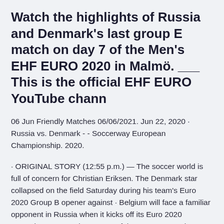Watch the highlights of Russia and Denmark's last group E match on day 7 of the Men's EHF EURO 2020 in Malmö. ___ This is the official EHF EURO YouTube chann
06 Jun Friendly Matches 06/06/2021. Jun 22, 2020 · Russia vs. Denmark - - Soccerway European Championship. 2020.
· ORIGINAL STORY (12:55 p.m.) — The soccer world is full of concern for Christian Eriksen. The Denmark star collapsed on the field Saturday during his team's Euro 2020 Group B opener against · Belgium will face a familiar opponent in Russia when it kicks off its Euro 2020 campaign on Saturday as one of the tournament's heavy favorites. The Red Devils faced Denmark in a...